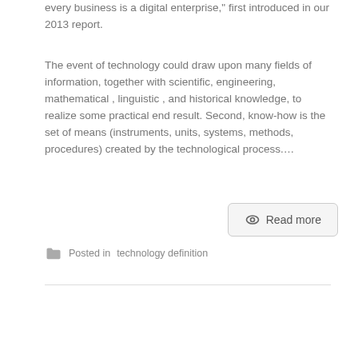every business is a digital enterprise," first introduced in our 2013 report.
The event of technology could draw upon many fields of information, together with scientific, engineering, mathematical , linguistic , and historical knowledge, to realize some practical end result. Second, know-how is the set of means (instruments, units, systems, methods, procedures) created by the technological process....
Read more
Posted in technology definition